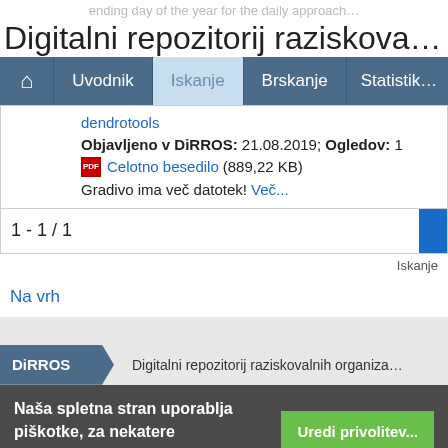ending day of the year for the daily approach…
Digitalni repozitorij raziskova…
🏠  Uvodnik  Iskanje  Brskanje  Statistik…
dendrotools
Objavljeno v DiRROS: 21.08.2019; Ogledov: 1
Celotno besedilo (889,22 KB)
Gradivo ima več datotek! Več...
1 - 1 / 1
Iskanje
Na vrh
DiRROS  Digitalni repozitorij raziskovalnih organiza…
Naša spletna stran uporablja piškotke, za nekatere potrebujemo vašo privolitev. Uredi privolitev...